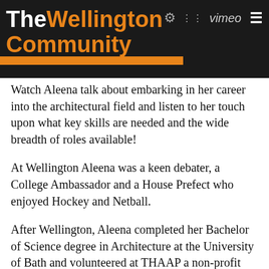[Figure (screenshot): The Wellington Community website header with logo showing 'The Wellington Community' in white and orange on dark background, with gear icon, grid icon, vimeo text, and menu icon on the right, and an orange horizontal bar below the logo.]
Watch Aleena talk about embarking in her career into the architectural field and listen to her touch upon what key skills are needed and the wide breadth of roles available!
At Wellington Aleena was a keen debater, a College Ambassador and a House Prefect who enjoyed Hockey and Netball.
After Wellington, Aleena completed her Bachelor of Science degree in Architecture at the University of Bath and volunteered at THAAP a non-profit organisation aimed towards enhancing and protecting the culture and history of Pakistan through research and practice with on-site projects and support of scholarships as well as an internship